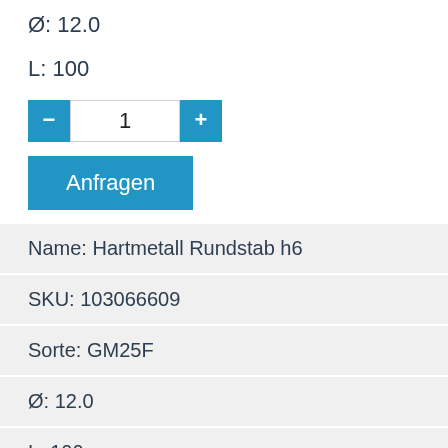Ø: 12.0
L: 100
1
Anfragen
| Name: Hartmetall Rundstab h6 |
| SKU: 103066609 |
| Sorte: GM25F |
| Ø: 12.0 |
| L: 100 |